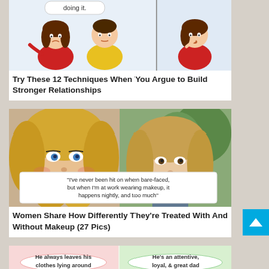[Figure (illustration): Cartoon illustration showing a couple arguing, with a speech bubble containing 'doing it.' A man in a yellow shirt and a woman in a red top, plus another panel showing the woman alone looking upset.]
Try These 12 Techniques When You Argue to Build Stronger Relationships
[Figure (photo): Side-by-side photos of the same blonde woman, one with full makeup and one bare-faced. Overlaid text quote: "I've never been hit on when bare-faced, but when I'm at work wearing makeup, it happens nightly, and too much"]
Women Share How Differently They're Treated With And Without Makeup (27 Pics)
[Figure (illustration): Two-panel comic strip. Left panel (pink): 'He always leaves his clothes lying around'. Right panel (green): 'He's an attentive, loyal, & great dad']